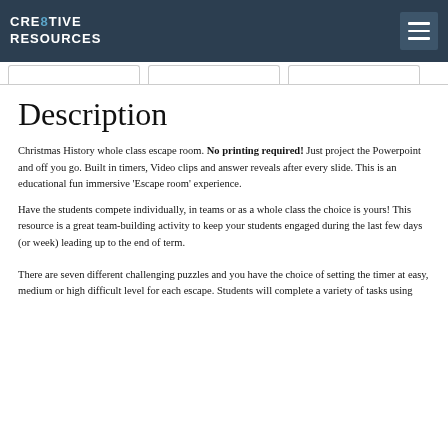CRE8TIVE RESOURCES
Description
Christmas History whole class escape room. No printing required! Just project the Powerpoint and off you go. Built in timers, Video clips and answer reveals after every slide. This is an educational fun immersive ‘Escape room’ experience.
Have the students compete individually, in teams or as a whole class the choice is yours! This resource is a great team-building activity to keep your students engaged during the last few days (or week) leading up to the end of term.
There are seven different challenging puzzles and you have the choice of setting the timer at easy, medium or high difficult level for each escape. Students will complete a variety of tasks using